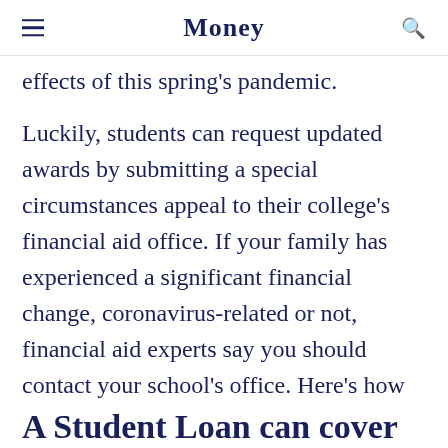Money
effects of this spring's pandemic.
Luckily, students can request updated awards by submitting a special circumstances appeal to their college's financial aid office. If your family has experienced a significant financial change, coronavirus-related or not, financial aid experts say you should contact your school's office. Here's how to do it.
Ad
A Student Loan can cover